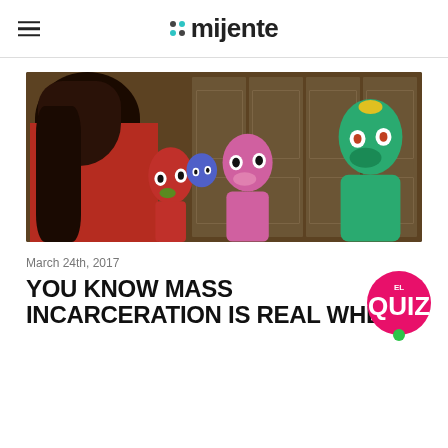mijente
[Figure (photo): A woman with dark hair sitting with several Muppet/Sesame Street characters including a red muppet, blue muppet, pink muppet (Abby Cadabby), and green muppet (Rosita), in front of a wooden door backdrop.]
March 24th, 2017
YOU KNOW MASS INCARCERATION IS REAL WHEN